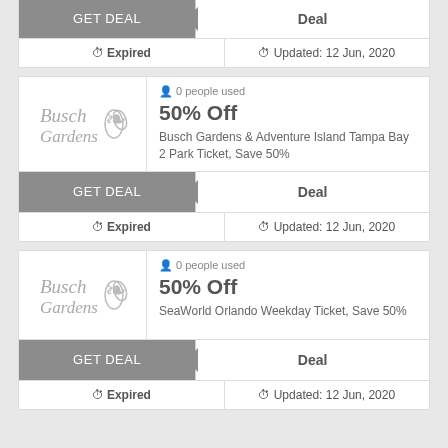GET DEAL / Deal / Expired / Updated: 12 Jun, 2020 (partial card top)
0 people used
50% Off
Busch Gardens & Adventure Island Tampa Bay 2 Park Ticket, Save 50%
GET DEAL / Deal
Expired / Updated: 12 Jun, 2020
0 people used
50% Off
SeaWorld Orlando Weekday Ticket, Save 50%
GET DEAL / Deal
Expired / Updated: 12 Jun, 2020 (partial)